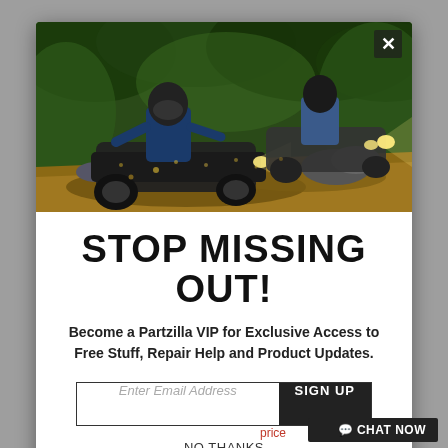[Figure (photo): Two ATV riders riding through a muddy forest trail, spraying dirt, headlights on, surrounded by green trees and rocks.]
STOP MISSING OUT!
Become a Partzilla VIP for Exclusive Access to Free Stuff, Repair Help and Product Updates.
Enter Email Address  SIGN UP
NO THANKS